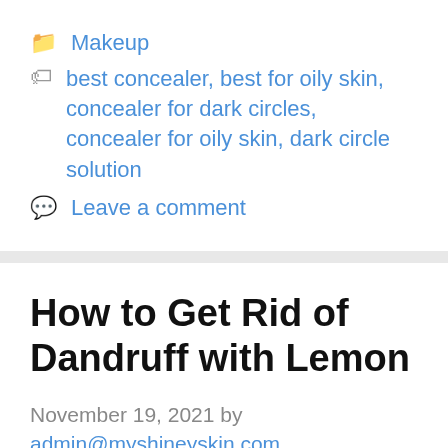📁 Makeup
🏷 best concealer, best for oily skin, concealer for dark circles, concealer for oily skin, dark circle solution
💬 Leave a comment
How to Get Rid of Dandruff with Lemon
November 19, 2021 by admin@myshineyskin.com